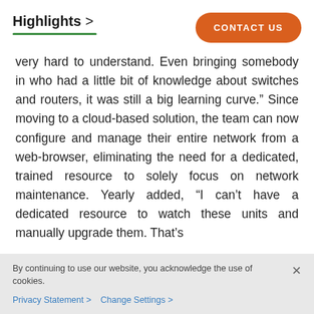Highlights >
[Figure (other): Orange rounded rectangle button with text CONTACT US in white bold uppercase letters]
very hard to understand. Even bringing somebody in who had a little bit of knowledge about switches and routers, it was still a big learning curve.” Since moving to a cloud-based solution, the team can now configure and manage their entire network from a web-browser, eliminating the need for a dedicated, trained resource to solely focus on network maintenance. Yearly added, “I can’t have a dedicated resource to watch these units and manually upgrade them. That’s
By continuing to use our website, you acknowledge the use of cookies.
Privacy Statement > Change Settings >